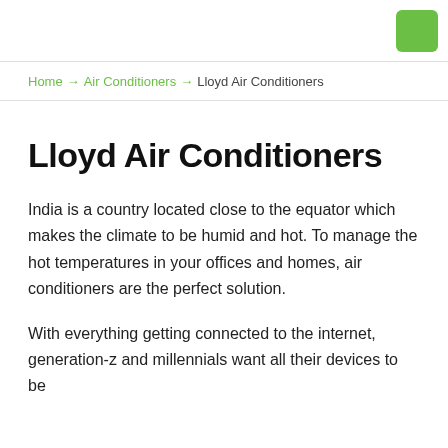Home → Air Conditioners → Lloyd Air Conditioners
Lloyd Air Conditioners
India is a country located close to the equator which makes the climate to be humid and hot. To manage the hot temperatures in your offices and homes, air conditioners are the perfect solution.
With everything getting connected to the internet, generation-z and millennials want all their devices to be